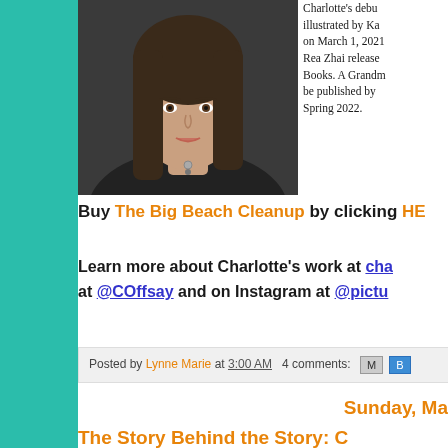[Figure (photo): Headshot of a young woman with long dark hair wearing a dark jacket and a necklace, photographed from shoulders up.]
Charlotte's debut illustrated by Ka on March 1, 2021 Rea Zhai release Books. A Grandm be published by Spring 2022.
Buy The Big Beach Cleanup by clicking HE
Learn more about Charlotte's work at cha at @COffsay and on Instagram at @pictu
Posted by Lynne Marie at 3:00 AM   4 comments:
Sunday, Ma
The Story Behind the Story: C